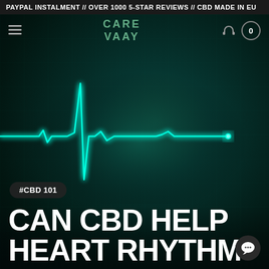PAYPAL INSTALMENT // OVER 1000 5-STAR REVIEWS // CBD MADE IN EU
[Figure (screenshot): CARE VAAY website navigation bar with hamburger menu, logo, headphone icon, and cart showing 0]
[Figure (illustration): ECG/heartbeat monitor waveform in glowing cyan/teal color on dark teal background, showing a single large QRS spike in the center with smaller deflections on either side, with a glowing dot at the end of the line]
#CBD 101
CAN CBD HELP HEART RHYTHM